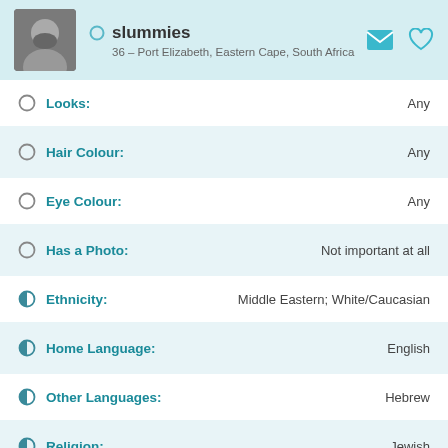slummies
36 – Port Elizabeth, Eastern Cape, South Africa
Looks: Any
Hair Colour: Any
Eye Colour: Any
Has a Photo: Not important at all
Ethnicity: Middle Eastern; White/Caucasian
Home Language: English
Other Languages: Hebrew
Religion: Jewish